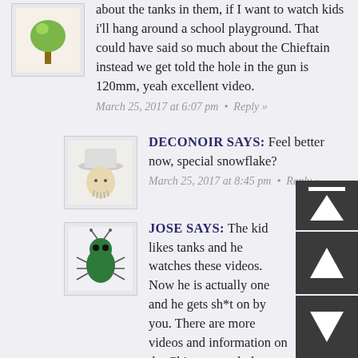about the tanks in them, if I want to watch kids i'll hang around a school playground. That could have said so much about the Chieftain instead we get told the hole in the gun is 120mm, yeah excellent video.
March 25, 2017 at 6:07 pm • Reply »
DECONOIR SAYS: Feel better now, special snowflake?
March 25, 2017 at 8:45 pm • Reply »
JOSE SAYS: The kid likes tanks and he watches these videos. Now he is actually one and he gets sh*t on by you. There are more videos and information on the Chie... go watch those.